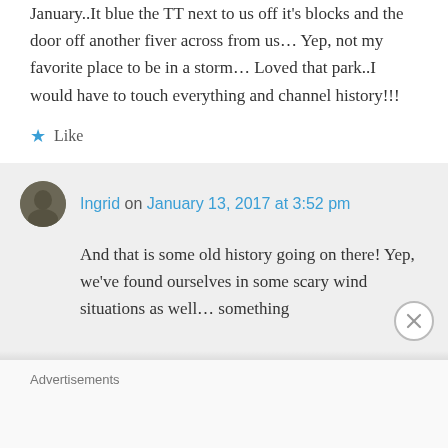January..It blue the TT next to us off it's blocks and the door off another fiver across from us... Yep, not my favorite place to be in a storm... Loved that park..I would have to touch everything and channel history!!!
★ Like
Ingrid on January 13, 2017 at 3:52 pm
And that is some old history going on there! Yep, we've found ourselves in some scary wind situations as well… something
Advertisements